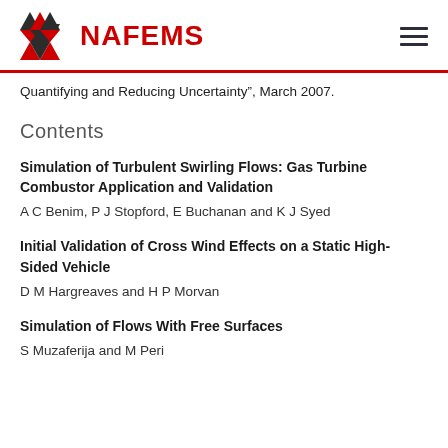NAFEMS
Quantifying and Reducing Uncertainty", March 2007.
Contents
Simulation of Turbulent Swirling Flows: Gas Turbine Combustor Application and Validation
A C Benim, P J Stopford, E Buchanan and K J Syed
Initial Validation of Cross Wind Effects on a Static High-Sided Vehicle
D M Hargreaves and H P Morvan
Simulation of Flows With Free Surfaces
S Muzaferija and M Peri